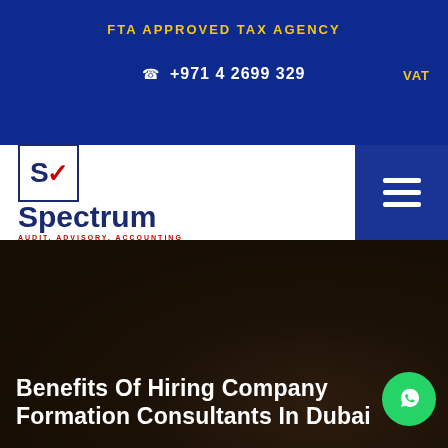FTA APPROVED TAX AGENCY
VAT
☎ +971 4 2699 329
[Figure (logo): SA Spectrum Audit Advisory Accounting logo with blue box containing stylized SA letters and checkmark, next to the word Spectrum in navy blue with red subtitle AUDIT. ADVISORY. ACCOUNTING]
Benefits Of Hiring Company Formation Consultants In Dubai